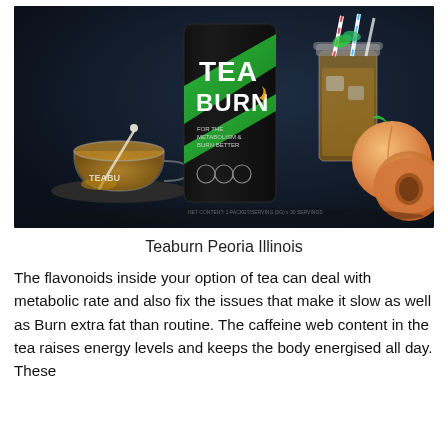[Figure (photo): Product photo of Tea Burn supplement canister (black with green diagonal stripe and white TEA BURN text) surrounded by a glass tea cup with stirrer on the left, a mason jar with iced tea and striped straws in the back right, and peaches on the right, all on a dark background.]
Teaburn Peoria Illinois
The flavonoids inside your option of tea can deal with metabolic rate and also fix the issues that make it slow as well as Burn extra fat than routine. The caffeine web content in the tea raises energy levels and keeps the body energised all day. These